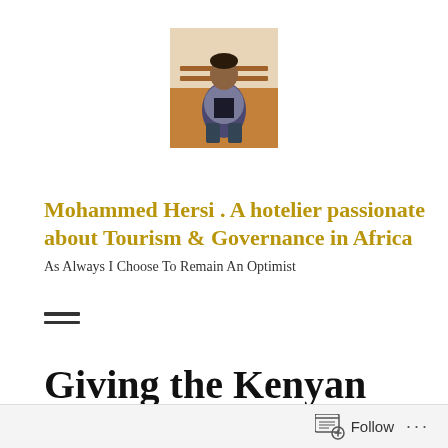[Figure (photo): Profile photo of a man sitting on a bench, wearing a grey jacket, photographed indoors]
Mohammed Hersi . A hotelier passionate about Tourism & Governance in Africa
As Always I Choose To Remain An Optimist
[Figure (other): Hamburger menu icon — two horizontal bars]
Giving the Kenyan Farmer a voice
Follow   ...